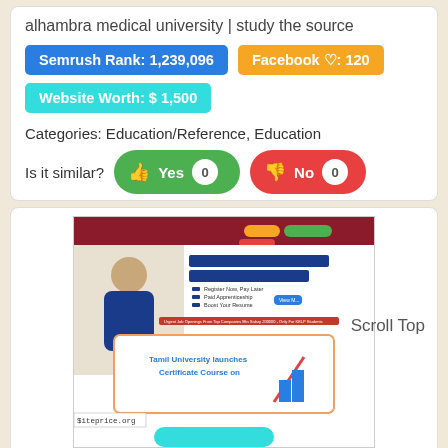alhambra medical university | study the source
Semrush Rank: 1,239,096
Facebook ♡: 120
Website Worth: $ 1,500
Categories: Education/Reference, Education
Is it similar?  Yes  0   No  0
[Figure (screenshot): Screenshot of alhambra medical university website showing EMPLOYMENT LINKED SKILLING PROGRAM banner with a student image, and a Tamil University Certificate Course card below. A 'Scroll Top' label appears to the right. A siteprice.org watermark is visible at bottom left.]